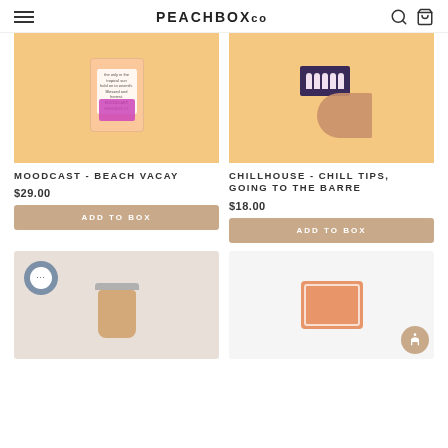PEACHBOXCO
[Figure (photo): Moodcast Beach Vacay candle product image on peach background]
[Figure (photo): Chillhouse Chill Tips Going To The Barre nail product with hand on peach background]
MOODCAST - BEACH VACAY
$29.00
ADD TO BOX
CHILLHOUSE - CHILL TIPS, GOING TO THE BARRE
$18.00
ADD TO BOX
[Figure (photo): Jar product on grey background with chat bubble overlay]
[Figure (photo): Peach square product on white background]